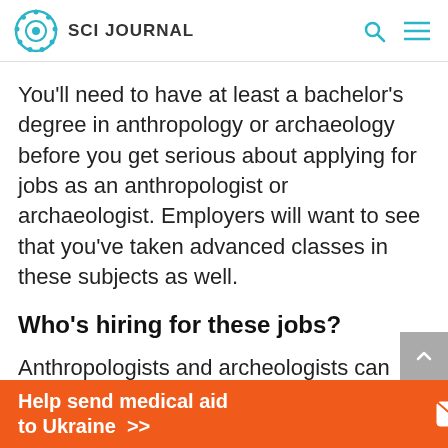SCI JOURNAL
You'll need to have at least a bachelor's degree in anthropology or archaeology before you get serious about applying for jobs as an anthropologist or archaeologist. Employers will want to see that you've taken advanced classes in these subjects as well.
Who's hiring for these jobs?
Anthropologists and archeologists can work anywhere, from museums to universities to
[Figure (infographic): Orange banner advertisement: Help send medical aid to Ukraine >> with Direct Relief logo on the right]